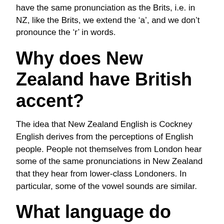have the same pronunciation as the Brits, i.e. in NZ, like the Brits, we extend the 'a', and we don't pronounce the 'r' in words.
Why does New Zealand have British accent?
The idea that New Zealand English is Cockney English derives from the perceptions of English people. People not themselves from London hear some of the same pronunciations in New Zealand that they hear from lower-class Londoners. In particular, some of the vowel sounds are similar.
What language do New Zealand and Australia